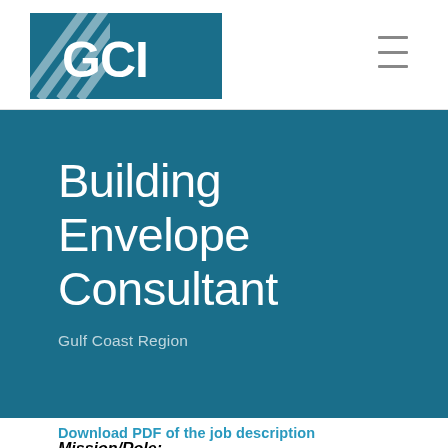[Figure (logo): GCI logo with diagonal hash lines and bold GCI text on teal/dark blue background]
Building Envelope Consultant
Gulf Coast Region
Download PDF of the job description
Mission/Role: